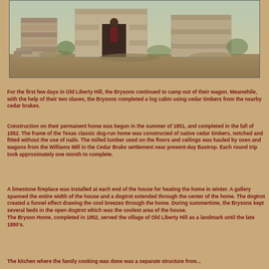[Figure (photo): Historical watercolor or painting of the Bryson Home, showing stone ruins or construction of a building with figures present, rendered in muted earth tones.]
For the first few days in Old Liberty Hill, the Brysons continued to camp out of their wagon. Meanwhile, with the help of their two slaves, the Brysons completed a log cabin using cedar timbers from the nearby cedar brakes.
Construction on their permanent home was begun in the summer of 1851, and completed in the fall of 1852. The frame of the Texas classic dog-run home was constructed of native cedar timbers, notched and fitted without the use of nails. The milled lumber used on the floors and ceilings was hauled by oxen and wagons from the Williams Mill in the Cedar Brake settlement near present-day Bastrop. Each round trip took approximately one month to complete.
A limestone fireplace was installed at each end of the house for heating the home in winter. A gallery spanned the entire width of the house and a dogtrot extended through the center of the home. The dogtrot created a funnel effect drawing the cool breezes through the home. During summertime, the Brysons kept several beds in the open dogtrot which was the coolest area of the house.
The Bryson Home, completed in 1852, served the village of Old Liberty Hill as a landmark until the late 1880's.
The kitchen where the family cooking was done was a separate structure from...